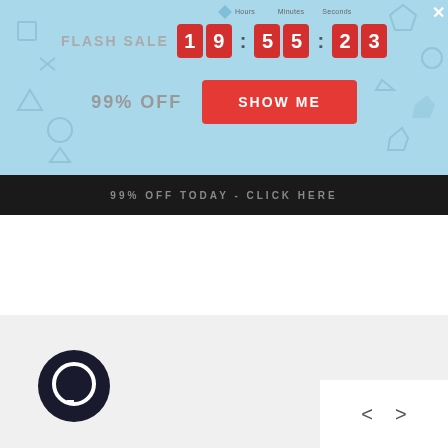[Figure (screenshot): Flash sale banner with countdown timer showing 19:55:23, 99% OFF text, SHOW ME button, and decorative geometric shapes on light blue background]
FLASH SALE
19 : 55 : 23
99% OFF
SHOW ME
99% OFF TODAY - CLICK HERE
[Figure (logo): Chat bubble icon — circular dark/black logo with a speech bubble shape inside]
< >